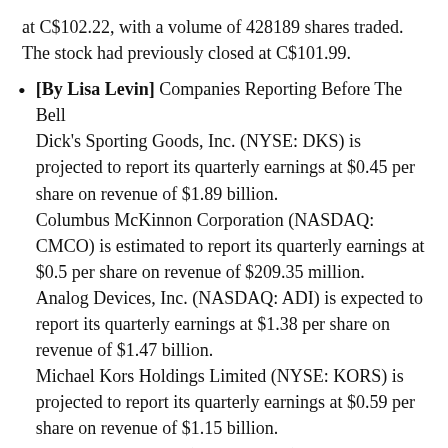at C$102.22, with a volume of 428189 shares traded. The stock had previously closed at C$101.99.
[By Lisa Levin] Companies Reporting Before The Bell Dick's Sporting Goods, Inc. (NYSE: DKS) is projected to report its quarterly earnings at $0.45 per share on revenue of $1.89 billion. Columbus McKinnon Corporation (NASDAQ: CMCO) is estimated to report its quarterly earnings at $0.5 per share on revenue of $209.35 million. Analog Devices, Inc. (NASDAQ: ADI) is expected to report its quarterly earnings at $1.38 per share on revenue of $1.47 billion. Michael Kors Holdings Limited (NYSE: KORS) is projected to report its quarterly earnings at $0.59 per share on revenue of $1.15 billion. Movado Group, Inc. (NYSE: MOV) is expected to report its quarterly earnings at $0.11 per share on